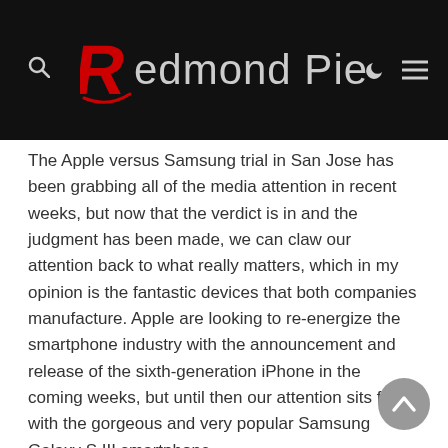Redmond Pie
The Apple versus Samsung trial in San Jose has been grabbing all of the media attention in recent weeks, but now that the verdict is in and the judgment has been made, we can claw our attention back to what really matters, which in my opinion is the fantastic devices that both companies manufacture. Apple are looking to re-energize the smartphone industry with the announcement and release of the sixth-generation iPhone in the coming weeks, but until then our attention sits firmly with the gorgeous and very popular Samsung Galaxy S III smartphone.
Although naturally disappointed with the decision in San Jose over the weekend, the Galaxy S III has been a recent ray of light for Samsung and following on from what company deems "a successful launch" of their most recent mobile powerhouse, they have decided to extend the range to